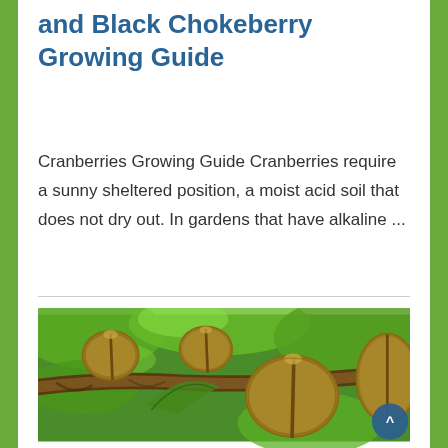and Black Chokeberry Growing Guide
Cranberries Growing Guide Cranberries require a sunny sheltered position, a moist acid soil that does not dry out. In gardens that have alkaline ...
[Figure (photo): Photo of kiwi fruits hanging on a branch with green leaves in the background]